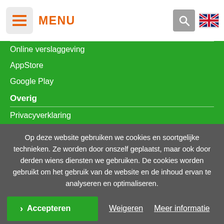[Figure (screenshot): Navigation header with hamburger menu icon in a gray box, orange MENU text, a gray search icon box, and a UK flag icon on the right]
Online verslaggeving
AppStore
Google Play
Overig
Privacyverklaring
Op deze website gebruiken we cookies en soortgelijke technieken. Ze worden door onszelf geplaatst, maar ook door derden wiens diensten we gebruiken. De cookies worden gebruikt om het gebruik van de website en de inhoud ervan te analyseren en optimaliseren.
Accepteren | Weigeren | Meer informatie